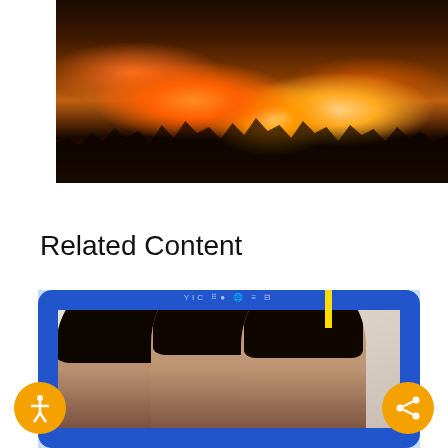[Figure (photo): Nighttime outdoor crowd scene with glowing sky lanterns and orange ambient lighting, many people gathered in an open plaza]
Related Content
[Figure (photo): Three young women smiling for a photo, posed inside a large blue photo frame prop branded YIC, with a yellow stripe accent]